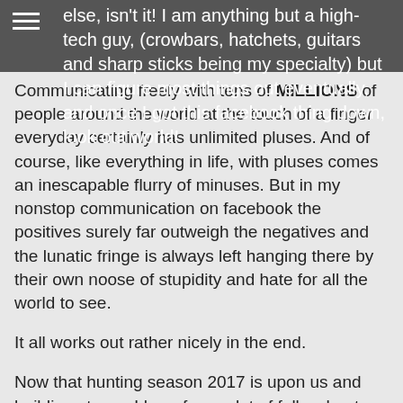else, isn't it! I am anything but a high-tech guy, (crowbars, hatchets, guitars and sharp sticks being my specialty) but I can figure most things out eventually, and once I got this facebook thing down, look out world!
Communicating freely with tens of MILLIONS of people around the world at the touch of a finger everyday certainly has unlimited pluses. And of course, like everything in life, with pluses comes an inescapable flurry of minuses. But in my nonstop communication on facebook the positives surely far outweigh the negatives and the lunatic fringe is always left hanging there by their own noose of stupidity and hate for all the world to see.
It all works out rather nicely in the end.
Now that hunting season 2017 is upon us and building steam, I hear from a lot of fellow hunters out there on a daily basis. I hear from dyed in the wool oldtimers like you and me and also from many newcomers eager to live and learn everything about our amazing sport.